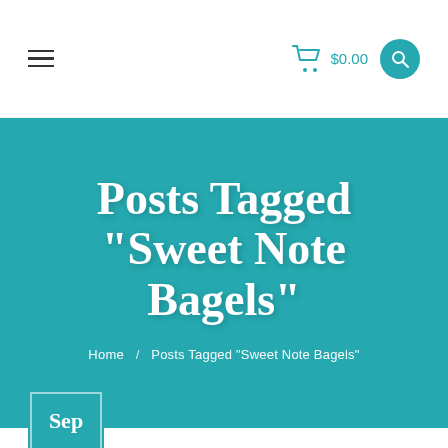$0.00
Posts Tagged “Sweet Note Bagels”
Home / Posts Tagged “Sweet Note Bagels”
Sep